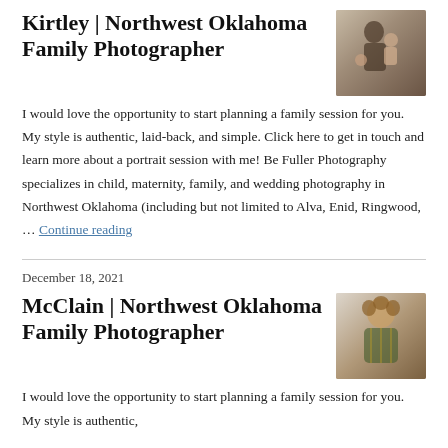Kirtley | Northwest Oklahoma Family Photographer
[Figure (photo): Photo of a woman with children, outdoor family photography session]
I would love the opportunity to start planning a family session for you. My style is authentic, laid-back, and simple. Click here to get in touch and learn more about a portrait session with me! Be Fuller Photography specializes in child, maternity, family, and wedding photography in Northwest Oklahoma (including but not limited to Alva, Enid, Ringwood, … Continue reading
December 18, 2021
McClain | Northwest Oklahoma Family Photographer
[Figure (photo): Photo of a young child with curly hair, wearing a plaid jacket]
I would love the opportunity to start planning a family session for you. My style is authentic,